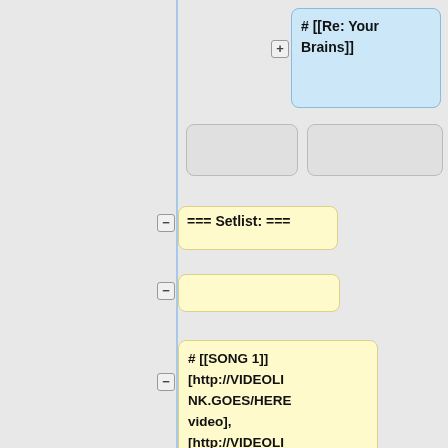# [[Re: Your Brains]]
=== Setlist: ===
# [[SONG 1]] [http://VIDEOLINK.GOES/HERE video], [http://VIDEOLINK.GOES/HERE video 2]
# [[SONG 2]]
# [[SONG 3]]
# ETC.
: '''Encore'''
: '''Encore'''